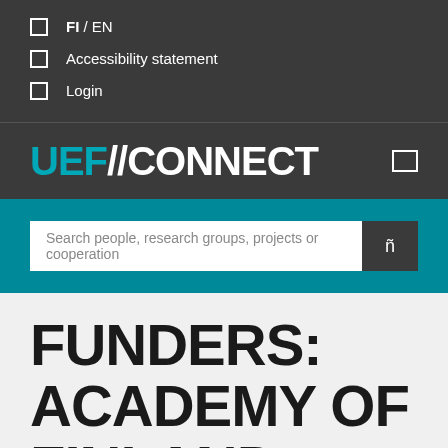FI / EN
Accessibility statement
Login
UEF//CONNECT
Search people, research groups, projects or cooperation
FUNDERS: ACADEMY OF FINLAND: SRO...